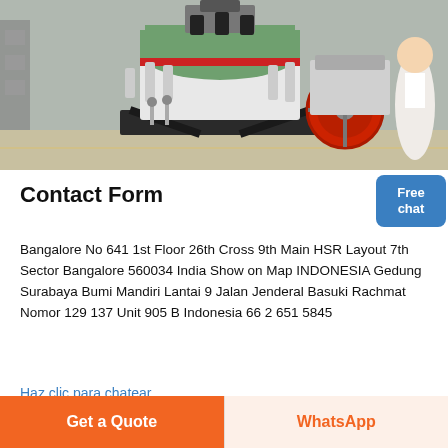[Figure (photo): Industrial cone crusher machine photographed in a factory setting. The machine is large with a green top section with red ring, white cylindrical body, and black base frame. Multiple hydraulic cylinders and pipes visible. A large red flywheel is on the right side.]
Free chat
Contact Form
Bangalore No 641 1st Floor 26th Cross 9th Main HSR Layout 7th Sector Bangalore 560034 India Show on Map INDONESIA Gedung Surabaya Bumi Mandiri Lantai 9 Jalan Jenderal Basuki Rachmat Nomor 129 137 Unit 905 B Indonesia 66 2 651 5845
Haz clic para chatear
Get a Quote
WhatsApp